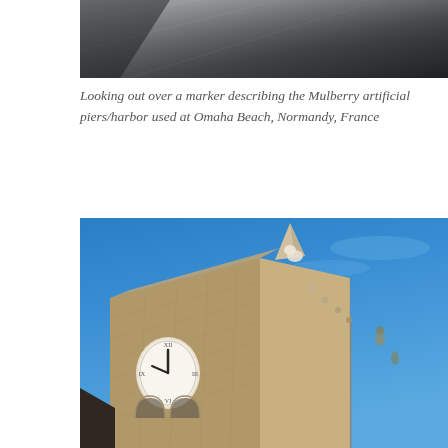[Figure (photo): Partial view of a marker/plaque at Omaha Beach, Normandy, France, describing the Mulberry artificial piers/harbor. The image shows the top portion of the marker with a dark metallic or stone surface against a grey background.]
Looking out over a marker describing the Mulberry artificial piers/harbor used at Omaha Beach, Normandy, France
[Figure (photo): Looking up at a stone church tower against a bright blue sky. The tower features Gothic architectural elements including a clock face with an oval shape, decorative stonework, pointed spires, and ornamental figures/gargoyles along the edge. The stone is weathered limestone or sandstone in tan/grey tones.]